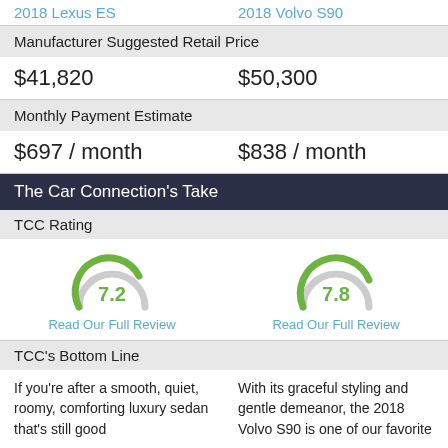2018 Lexus ES   2018 Volvo S90
Manufacturer Suggested Retail Price
$41,820   $50,300
Monthly Payment Estimate
$697 / month   $838 / month
The Car Connection's Take
TCC Rating
[Figure (infographic): Two gauge/speedometer style rating dials: left shows 7.2 in green for 2018 Lexus ES, right shows 7.8 in green for 2018 Volvo S90]
Read Our Full Review   Read Our Full Review
TCC's Bottom Line
If you're after a smooth, quiet, roomy, comforting luxury sedan that's still good
With its graceful styling and gentle demeanor, the 2018 Volvo S90 is one of our favorite